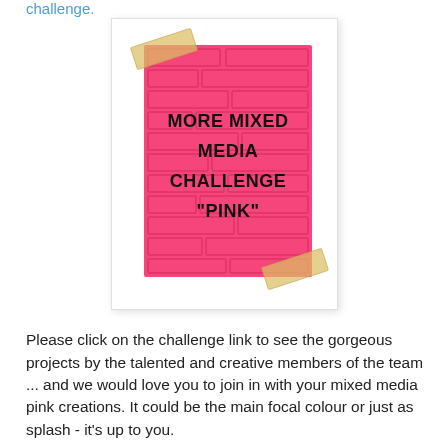challenge.
[Figure (illustration): A pink brick-patterned square card taped with two pieces of tan/yellow tape (top-left and bottom-right corners), containing bold black text reading MORE MIXED MEDIA CHALLENGE 'PINK'. The card is displayed on a white background with a light drop shadow.]
Please click on the challenge link to see the gorgeous projects by the talented and creative members of the team ... and we would love you to join in with your mixed media pink creations. It could be the main focal colour or just as splash - it's up to you.

I was wandering around The Works seeing what bargains they had and I came across this fairy house that I knew I just had to buy for my pink creation.